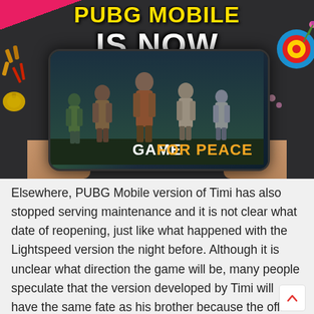[Figure (screenshot): Promotional game image showing 'PUBG Mobile is now GAME FOR PEACE' with characters on a phone screen held by hands, decorative items around]
Elsewhere, PUBG Mobile version of Timi has also stopped serving maintenance and it is not clear what date of reopening, just like what happened with the Lightspeed version the night before. Although it is unclear what direction the game will be, many people speculate that the version developed by Timi will have the same fate as his brother because the official Weibo account of this game has stopped updating, from October last year.